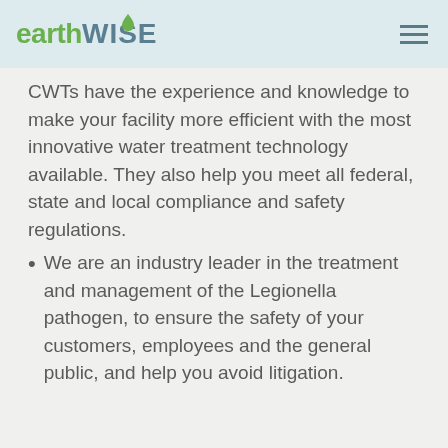earthWISE
CWTs have the experience and knowledge to make your facility more efficient with the most innovative water treatment technology available. They also help you meet all federal, state and local compliance and safety regulations.
We are an industry leader in the treatment and management of the Legionella pathogen, to ensure the safety of your customers, employees and the general public, and help you avoid litigation.